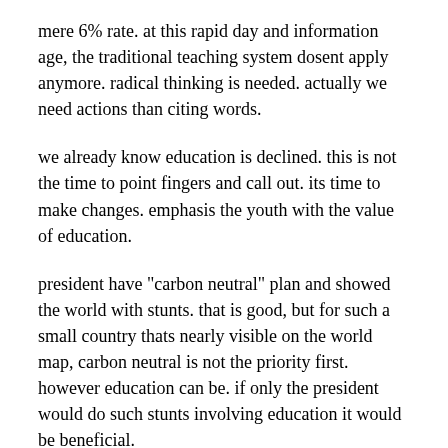mere 6% rate. at this rapid day and information age, the traditional teaching system dosent apply anymore. radical thinking is needed. actually we need actions than citing words.
we already know education is declined. this is not the time to point fingers and call out. its time to make changes. emphasis the youth with the value of education.
president have "carbon neutral" plan and showed the world with stunts. that is good, but for such a small country thats nearly visible on the world map, carbon neutral is not the priority first. however education can be. if only the president would do such stunts involving education it would be beneficial.
i really worry for the country. i guess anyone would